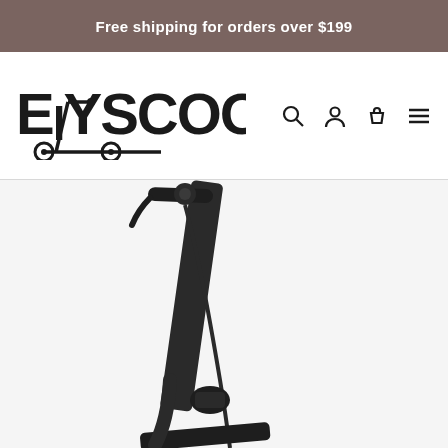Free shipping for orders over $199
[Figure (logo): ElySCOOTERS logo with stylized text and scooter icon below, followed by navigation icons (search, user, cart, menu)]
[Figure (photo): Partial view of a black electric scooter showing the handlebar stem and folding mechanism against a white/light grey background]